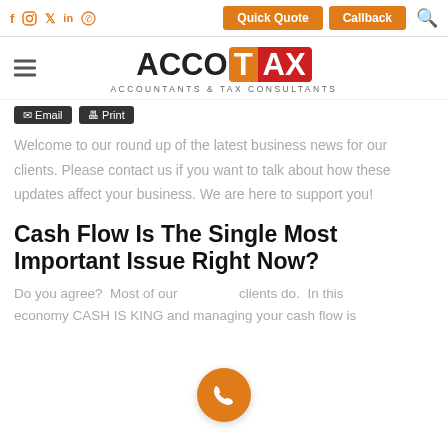ACCOTAX - ACCOUNTANTS & TAX CONSULTANTS
[Figure (logo): AccoTax logo with orange T and red AX on white background, subtitle: ACCOUNTANTS & TAX CONSULTANTS]
Email   Print
Welcome to our round up of the latest business news for our clients. Please contact us if you want to talk about how these updates affect your business. We are here to support you!
Cash Flow Is The Single Most Important Issue Right Now?
Do you agree?  Most of our clients do.  In this economy CASH IS KING and managing your cash flow is